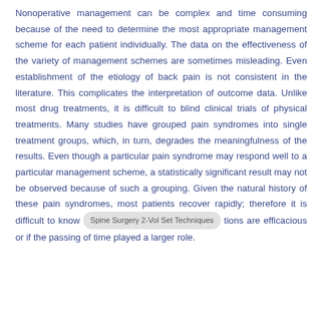Nonoperative management can be complex and time consuming because of the need to determine the most appropriate management scheme for each patient individually. The data on the effectiveness of the variety of management schemes are sometimes misleading. Even establishment of the etiology of back pain is not consistent in the literature. This complicates the interpretation of outcome data. Unlike most drug treatments, it is difficult to blind clinical trials of physical treatments. Many studies have grouped pain syndromes into single treatment groups, which, in turn, degrades the meaningfulness of the results. Even though a particular pain syndrome may respond well to a particular management scheme, a statistically significant result may not be observed because of such a grouping. Given the natural history of these pain syndromes, most patients recover rapidly; therefore it is difficult to know [Spine Surgery 2-Vol Set Techniques] tions are efficacious or if the passing of time played a larger role.